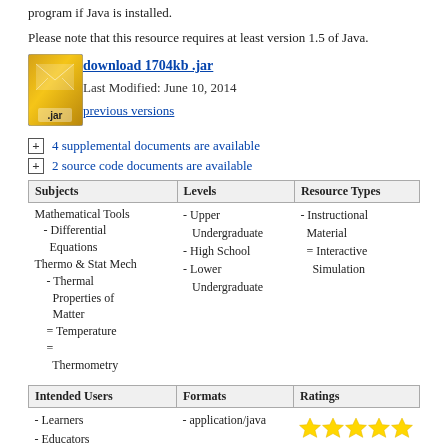program if Java is installed.
Please note that this resource requires at least version 1.5 of Java.
[Figure (illustration): Gold JAR file icon with '.jar' label]
download 1704kb .jar
Last Modified: June 10, 2014
previous versions
4 supplemental documents are available
2 source code documents are available
| Subjects | Levels | Resource Types |
| --- | --- | --- |
| Mathematical Tools
  - Differential
    Equations
Thermo & Stat Mech
  - Thermal
    Properties of
    Matter
  = Temperature
  =
    Thermometry | - Upper
    Undergraduate
- High School
- Lower
    Undergraduate | - Instructional
  Material
  = Interactive
    Simulation |
| Intended Users | Formats | Ratings |
| --- | --- | --- |
| - Learners
- Educators | - application/java | ★★★★★ |